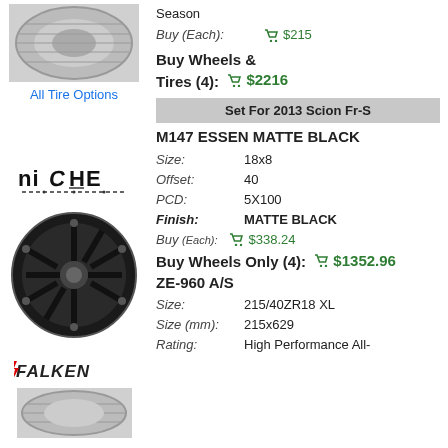[Figure (photo): Tire image top]
All Tire Options
Season
Buy (Each): $215
Buy Wheels & Tires (4): $2216
Set For 2013 Scion Fr-S
M147 ESSEN MATTE BLACK
[Figure (logo): Niche brand logo]
[Figure (photo): Black wheel/rim image]
Size: 18x8
Offset: 40
PCD: 5X100
Finish: MATTE BLACK
Buy (Each): $338.24
Buy Wheels Only (4): $1352.96
ZE-960 A/S
[Figure (logo): Falken brand logo]
[Figure (photo): Tire image bottom]
Size: 215/40ZR18 XL
Size (mm): 215x629
Rating: High Performance All-